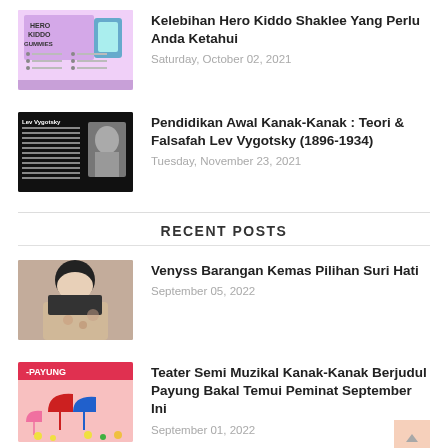[Figure (photo): Hero Kiddo Gummies product infographic with pink background]
Kelebihan Hero Kiddo Shaklee Yang Perlu Anda Ketahui
Saturday, October 02, 2021
[Figure (photo): Lev Vygotsky educational slide with dark background and portrait photo]
Pendidikan Awal Kanak-Kanak : Teori & Falsafah Lev Vygotsky (1896-1934)
Tuesday, November 23, 2021
RECENT POSTS
[Figure (photo): Woman in hijab smiling, photo portrait]
Venyss Barangan Kemas Pilihan Suri Hati
September 05, 2022
[Figure (photo): Payung theater promotional poster with colorful umbrellas on pink background]
Teater Semi Muzikal Kanak-Kanak Berjudul Payung Bakal Temui Peminat September Ini
September 01, 2022